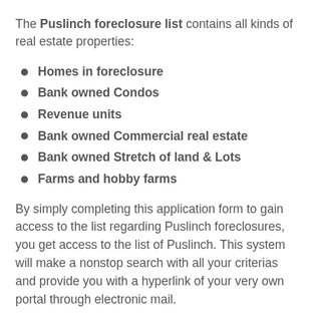The Puslinch foreclosure list contains all kinds of real estate properties:
Homes in foreclosure
Bank owned Condos
Revenue units
Bank owned Commercial real estate
Bank owned Stretch of land & Lots
Farms and hobby farms
By simply completing this application form to gain access to the list regarding Puslinch foreclosures, you get access to the list of Puslinch. This system will make a nonstop search with all your criterias and provide you with a hyperlink of your very own portal through electronic mail.